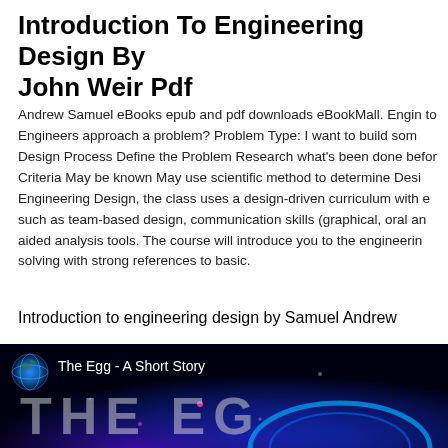Introduction To Engineering Design By John Weir Pdf
Andrew Samuel eBooks epub and pdf downloads eBookMall. Engin to Engineers approach a problem? Problem Type: I want to build som Design Process Define the Problem Research what's been done befor Criteria May be known May use scientific method to determine Desi Engineering Design, the class uses a design-driven curriculum with e such as team-based design, communication skills (graphical, oral an aided analysis tools. The course will introduce you to the engineerin solving with strong references to basic.
Introduction to engineering design by Samuel Andrew
[Figure (screenshot): Video thumbnail showing 'The Egg - A Short Story' with large stylized 'THE EG' text overlay on a dark background with glowing blue and purple space-like imagery and a globe icon.]